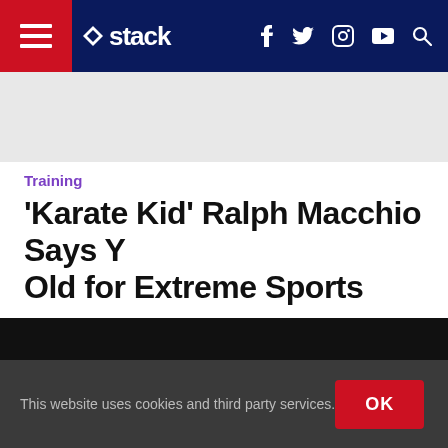stack — navigation bar with hamburger menu, logo, social icons (f, twitter, instagram, youtube), search
[Figure (other): Grey advertisement banner area]
Training
'Karate Kid' Ralph Macchio Says You're Never Too Old for Extreme Sports
By Rebecca Scritchfield   Published On: 2014-03-23
[Figure (photo): Black image/video area]
This website uses cookies and third party services.